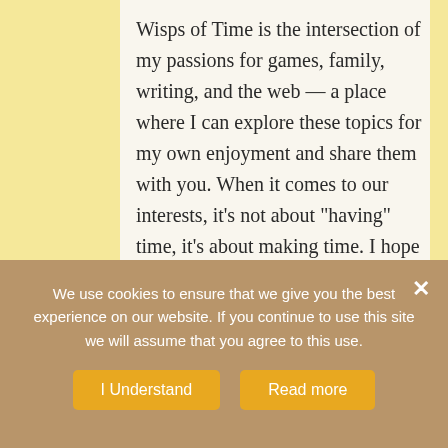Wisps of Time is the intersection of my passions for games, family, writing, and the web — a place where I can explore these topics for my own enjoyment and share them with you. When it comes to our interests, it's not about "having" time, it's about making time. I hope I can help you to make time for these things in your life, too.
[Figure (illustration): A grandfather clock illustration with a wooden case and clock face showing approximately 11:55]
We use cookies to ensure that we give you the best experience on our website. If you continue to use this site we will assume that you agree to this use.